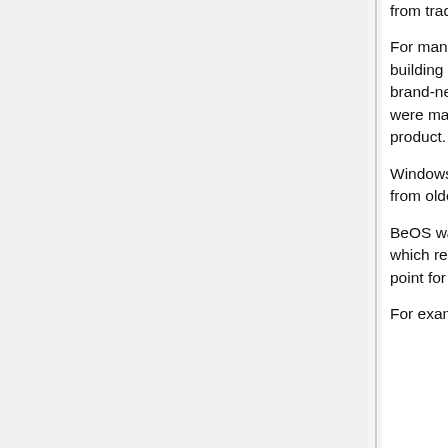from traditional software production.
For many software developers, progress is a function of modernity, with product iterations building on top of previous versions, systematically improved, repackaged, and sold as brand-new. The technological innovations of other 1990's era computer operating systems were marketed as "all new," despite their composition from previous iterations of the product.
Windows, Apple, and UNIX-based operating systems of the day were patched and revised from older models to achieve tasks that they were not necessarily created to do.
BeOS was created with a technological determinist position in mind: to create something which rethought prior innovations not as progressive improvement, but as a new starting point for developing from a clean(er) slate.
For example, from a promotional BeOS 'White Sheet':